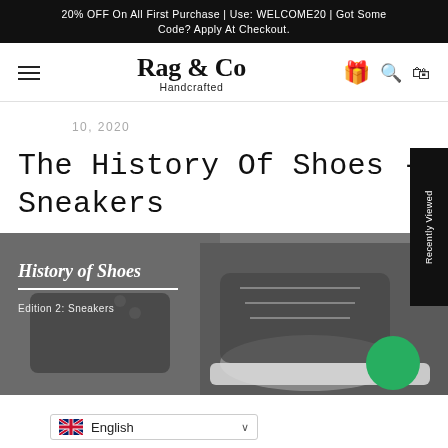20% OFF On All First Purchase | Use: WELCOME20 | Got Some Code? Apply At Checkout.
[Figure (logo): Rag & Co Handcrafted logo with hamburger menu, gift icon, search and cart icons]
10, 2020
The History Of Shoes - Sneakers
[Figure (photo): Hero banner showing two black sneakers with text overlay: History of Shoes, Edition 2: Sneakers]
English